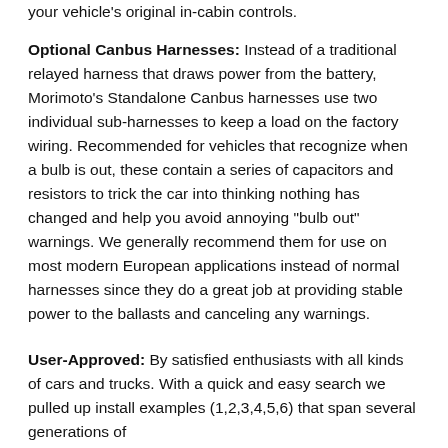your vehicle's original in-cabin controls.
Optional Canbus Harnesses: Instead of a traditional relayed harness that draws power from the battery, Morimoto's Standalone Canbus harnesses use two individual sub-harnesses to keep a load on the factory wiring. Recommended for vehicles that recognize when a bulb is out, these contain a series of capacitors and resistors to trick the car into thinking nothing has changed and help you avoid annoying "bulb out" warnings. We generally recommend them for use on most modern European applications instead of normal harnesses since they do a great job at providing stable power to the ballasts and canceling any warnings.
User-Approved: By satisfied enthusiasts with all kinds of cars and trucks. With a quick and easy search we pulled up install examples (1,2,3,4,5,6) that span several generations of